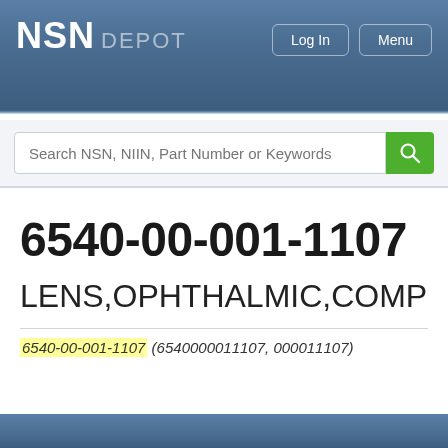NSN DEPOT
[Figure (screenshot): Search bar with placeholder text 'Search NSN, NIIN, Part Number or Keywords' and green search button]
6540-00-001-1107
LENS,OPHTHALMIC,COMPOU
6540-00-001-1107 (6540000011107, 000011107)